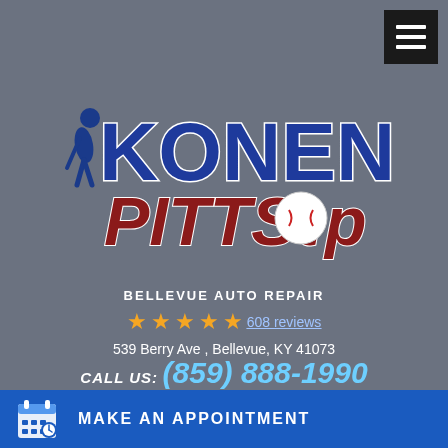[Figure (logo): Konen's Pittstop logo — large text with golfer silhouette, blue and red lettering on grey background]
BELLEVUE AUTO REPAIR
★★★★★ 608 reviews
539 Berry Ave , Bellevue, KY 41073
CALL US: (859) 888-1990
Mon – Fri: 8:00 AM – 5:00 PM
MAKE AN APPOINTMENT